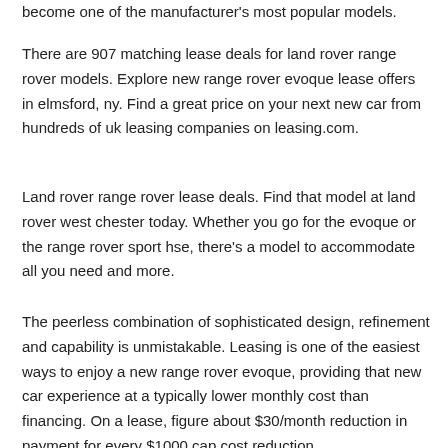become one of the manufacturer's most popular models.
There are 907 matching lease deals for land rover range rover models. Explore new range rover evoque lease offers in elmsford, ny. Find a great price on your next new car from hundreds of uk leasing companies on leasing.com.
Land rover range rover lease deals. Find that model at land rover west chester today. Whether you go for the evoque or the range rover sport hse, there's a model to accommodate all you need and more.
The peerless combination of sophisticated design, refinement and capability is unmistakable. Leasing is one of the easiest ways to enjoy a new range rover evoque, providing that new car experience at a typically lower monthly cost than financing. On a lease, figure about $30/month reduction in payment for every $1000 cap cost reduction.